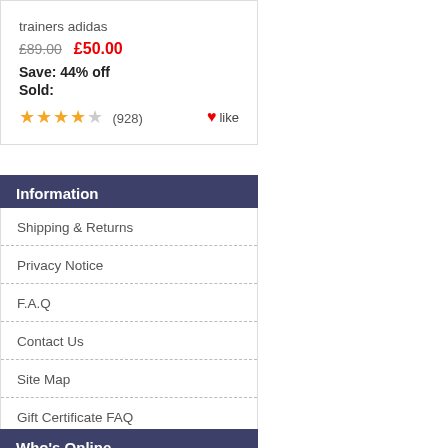trainers adidas
£89.00  £50.00
Save: 44% off
Sold:
★★★★☆ (928)  ♥like
Information
Shipping & Returns
Privacy Notice
F.A.Q
Contact Us
Site Map
Gift Certificate FAQ
Discount Coupons
Newsletter Unsubscribe
Who's Online